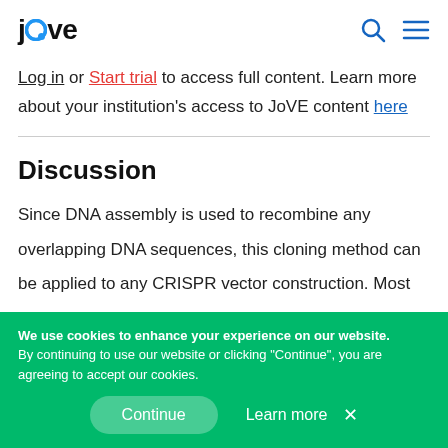jove [logo with search and menu icons]
Log in or Start trial to access full content. Learn more about your institution's access to JoVE content here
Discussion
Since DNA assembly is used to recombine any overlapping DNA sequences, this cloning method can be applied to any CRISPR vector construction. Most CRISPR cloning schemes use either gene synthesis of
We use cookies to enhance your experience on our website. By continuing to use our website or clicking "Continue", you are agreeing to accept our cookies. Continue  Learn more ✕